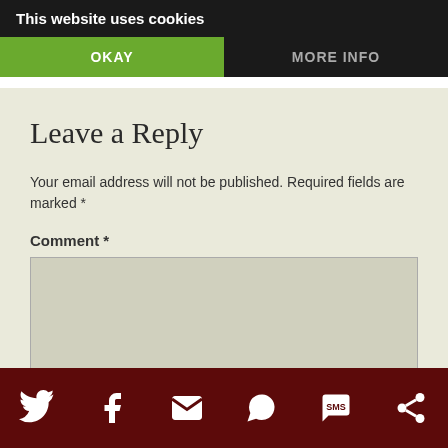This website uses cookies
OKAY
MORE INFO
Leave a Reply
Your email address will not be published. Required fields are marked *
Comment *
[Figure (other): Empty comment textarea input box]
Social share icons: Twitter, Facebook, Email, WhatsApp, SMS, Share